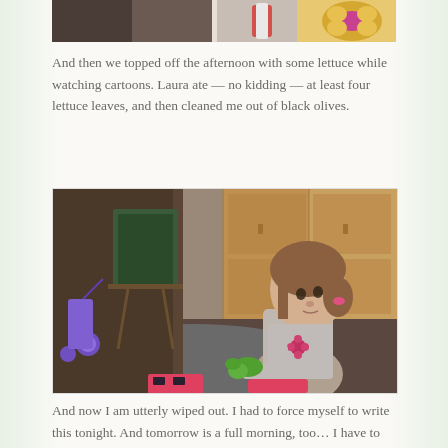[Figure (photo): Partial top photo showing food items — appears to be a cookie/pastry and perhaps candy, close-up shot cropped at top of page.]
And then we topped off the afternoon with some lettuce while watching cartoons. Laura ate — no kidding — at least four lettuce leaves, and then cleaned me out of black olives.
[Figure (photo): Young toddler girl with brown hair and a pink hair tie, wearing a grey top with a flower emblem, sitting on a rug in a playroom holding a green lettuce leaf. In the background are wooden cabinets, a chalkboard easel, and a purple toy stroller.]
And now I am utterly wiped out. I had to force myself to write this tonight. And tomorrow is a full morning, too… I have to be